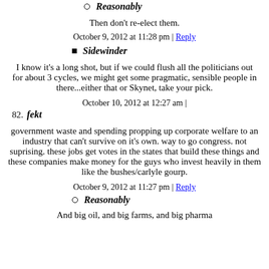Reasonably
Then don't re-elect them.
October 9, 2012 at 11:28 pm | Reply
Sidewinder
I know it's a long shot, but if we could flush all the politicians out for about 3 cycles, we might get some pragmatic, sensible people in there...either that or Skynet, take your pick.
October 10, 2012 at 12:27 am |
82. fekt
government waste and spending propping up corporate welfare to an industry that can't survive on it's own. way to go congress. not suprising. these jobs get votes in the states that build these things and these companies make money for the guys who invest heavily in them like the bushes/carlyle gourp.
October 9, 2012 at 11:27 pm | Reply
Reasonably
And big oil, and big farms, and big pharma